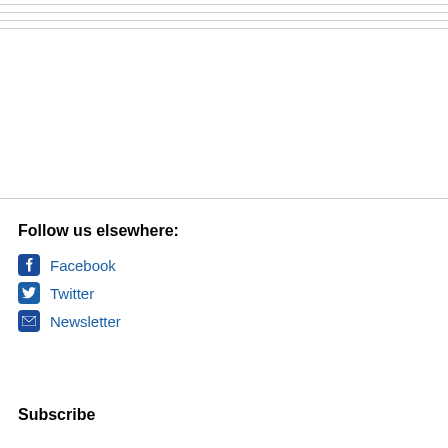Follow us elsewhere:
Facebook
Twitter
Newsletter
Subscribe